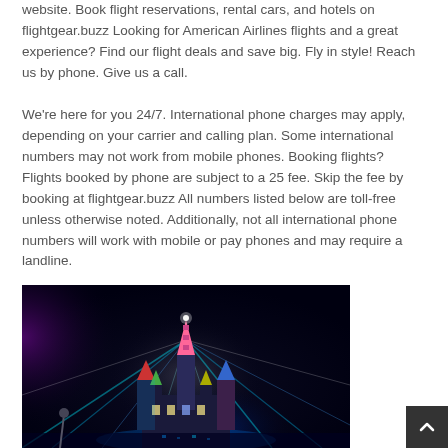website. Book flight reservations, rental cars, and hotels on flightgear.buzz Looking for American Airlines flights and a great experience? Find our flight deals and save big. Fly in style! Reach us by phone. Give us a call.
We're here for you 24/7. International phone charges may apply, depending on your carrier and calling plan. Some international numbers may not work from mobile phones. Booking flights? Flights booked by phone are subject to a 25 fee. Skip the fee by booking at flightgear.buzz All numbers listed below are toll-free unless otherwise noted. Additionally, not all international phone numbers will work with mobile or pay phones and may require a landline.
[Figure (photo): Night-time photo of an illuminated castle (resembling Cinderella's Castle at Disney) with colorful laser light beams shooting out, set against a dark background with purple and blue light effects.]